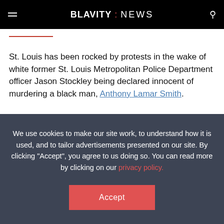BLAVITY : NEWS
St. Louis has been rocked by protests in the wake of white former St. Louis Metropolitan Police Department officer Jason Stockley being declared innocent of murdering a black man, Anthony Lamar Smith.
We use cookies to make our site work, to understand how it is used, and to tailor advertisements presented on our site. By clicking "Accept", you agree to us doing so. You can read more by clicking on our privacy policy.